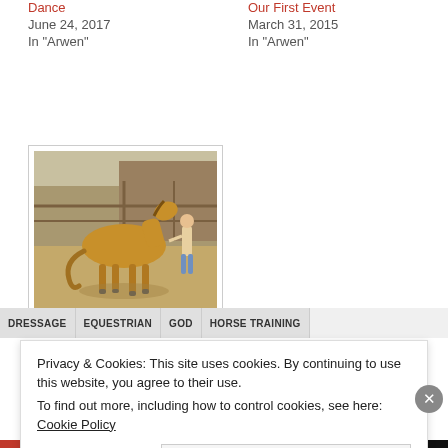Dance
June 24, 2017
In "Arwen"
Our First Event
March 31, 2015
In "Arwen"
[Figure (photo): A golden/palomino horse standing in a dusty paddock area with a person visible on the right side, fencing in the background.]
Nooitie Update
November 26, 2015
In "Arwen"
DRESSAGE   EQUESTRIAN   GOD   HORSE TRAINING
Privacy & Cookies: This site uses cookies. By continuing to use this website, you agree to their use.
To find out more, including how to control cookies, see here: Cookie Policy
Close and accept